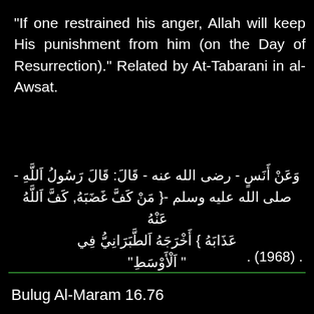“If one restrained his anger, Allah will keep His punishment from him (on the Day of Resurrection).” Related by At-Tabarani in al-Awsat.
وَعَنْ أَنَسٍ - رضى الله عنه - قَالَ: قَالَ رَسُولُ اللَّهِ - صلى الله عليه وسلم -{ مَنْ كَفَّ غَضَبَهُ, كَفَّ اللَّهُ عَنْهُ عَذَابَهُ } أَخْرَجَهُ الطَّبَرَانِيُّ في “الْأَوْسَطِ” . (1968) .
Bulug Al-Maram 16.76